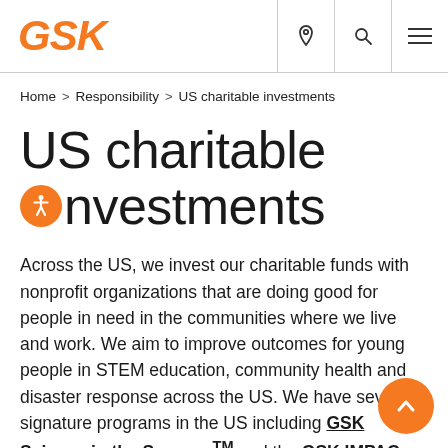[Figure (logo): GSK logo in orange italic bold text]
Home > Responsibility > US charitable investments
US charitable investments
Across the US, we invest our charitable funds with nonprofit organizations that are doing good for people in need in the communities where we live and work. We aim to improve outcomes for young people in STEM education, community health and disaster response across the US. We have several signature programs in the US including GSK Science in the Summer™ and the GSK IMPACT Awards